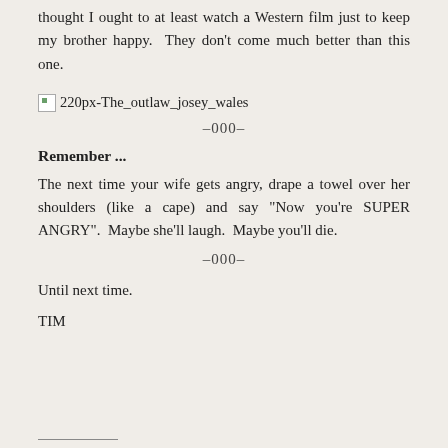thought I ought to at least watch a Western film just to keep my brother happy.  They don't come much better than this one.
[Figure (photo): Broken image placeholder with filename: 220px-The_outlaw_josey_wales]
–000–
Remember ...
The next time your wife gets angry, drape a towel over her shoulders (like a cape) and say “Now you're SUPER ANGRY”.  Maybe she'll laugh.  Maybe you'll die.
–000–
Until next time.
TIM